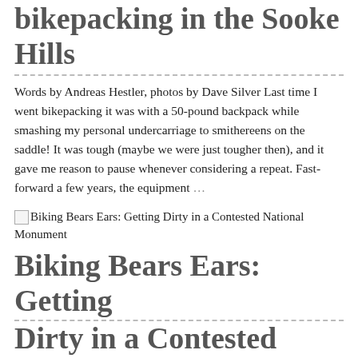bikepacking in the Sooke Hills
Words by Andreas Hestler, photos by Dave Silver Last time I went bikepacking it was with a 50-pound backpack while smashing my personal undercarriage to smithereens on the saddle! It was tough (maybe we were just tougher then), and it gave me reason to pause whenever considering a repeat. Fast-forward a few years, the equipment …
[Figure (photo): Thumbnail image placeholder for article: Biking Bears Ears: Getting Dirty in a Contested National Monument]
Biking Bears Ears: Getting Dirty in a Contested National Monument